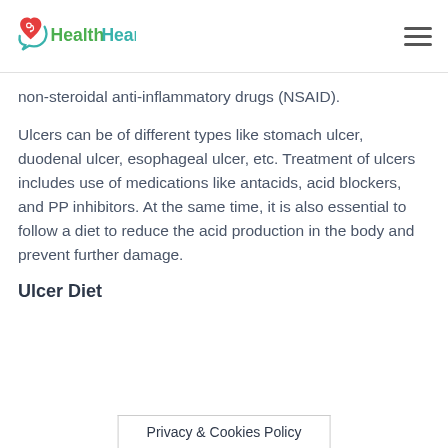HealthHearty
non-steroidal anti-inflammatory drugs (NSAID).
Ulcers can be of different types like stomach ulcer, duodenal ulcer, esophageal ulcer, etc. Treatment of ulcers includes use of medications like antacids, acid blockers, and PP inhibitors. At the same time, it is also essential to follow a diet to reduce the acid production in the body and prevent further damage.
Ulcer Diet
Privacy & Cookies Policy